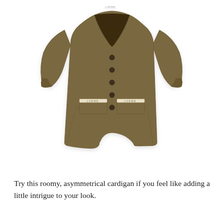[Figure (photo): Product photo of an olive/khaki brown oversized asymmetrical V-neck cardigan with button front, two front pockets with cream/gold logo trim, long sleeves, and an asymmetrical hem (shorter on the right side). Shot on white background.]
Try this roomy, asymmetrical cardigan if you feel like adding a little intrigue to your look.